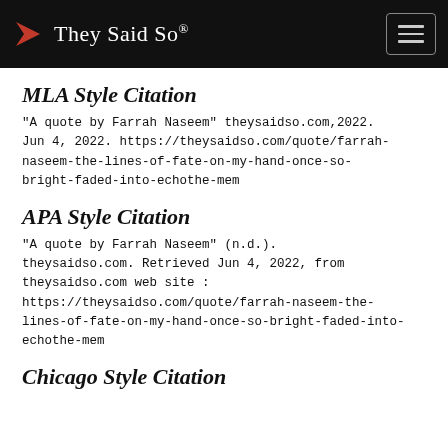They Said So®
MLA Style Citation
"A quote by Farrah Naseem" theysaidso.com,2022. Jun 4, 2022. https://theysaidso.com/quote/farrah-naseem-the-lines-of-fate-on-my-hand-once-so-bright-faded-into-echothe-mem
APA Style Citation
"A quote by Farrah Naseem" (n.d.). theysaidso.com. Retrieved Jun 4, 2022, from theysaidso.com web site : https://theysaidso.com/quote/farrah-naseem-the-lines-of-fate-on-my-hand-once-so-bright-faded-into-echothe-mem
Chicago Style Citation